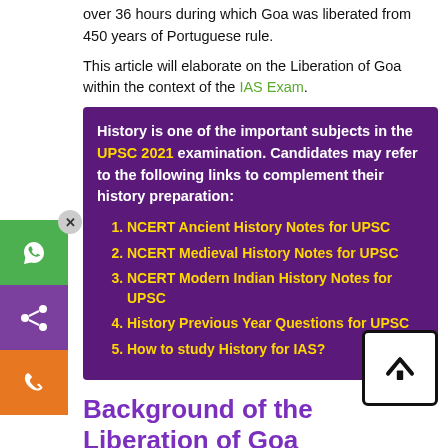over 36 hours during which Goa was liberated from 450 years of Portuguese rule.
This article will elaborate on the Liberation of Goa within the context of the IAS Exam.
History is one of the important subjects in the UPSC 2021 examination. Candidates may refer to the following links to complement their history preparation:
NCERT Ancient History Notes for UPSC
NCERT Medieval History Notes for UPSC
NCERT Modern Indian History Notes for UPSC
History Previous Year Questions for UPSC
How to study History for IAS?
Background of the Liberation of Goa
The Portuguese enclaves in India were collectively known as Estado da India. Established in the 1400s they were the earliest colonial holding in India. It consisted of the districts of Goa, Daman and Diu and Dadra and Nagar Haveli. Upon India's independence from the British Empire in August 1947,